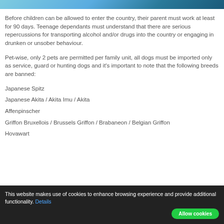[Figure (photo): Outdoor scenic photo banner — sky and trees visible at top of page]
Before children can be allowed to enter the country, their parent must work at least for 90 days. Teenage dependants must understand that there are serious repercussions for transporting alcohol and/or drugs into the country or engaging in drunken or unsober behaviour.
Pet-wise, only 2 pets are permitted per family unit, all dogs must be imported only as service, guard or hunting dogs and it's important to note that the following breeds are banned:
Japanese Spitz
Japanese Akita / Akita Imu / Akita
Affenpinscher
Griffon Bruxellois / Brussels Griffon / Brabaneon / Belgian Griffon
Hovawart
This website makes use of cookies to enhance browsing experience and provide additional functionality. Details
Allow cookies